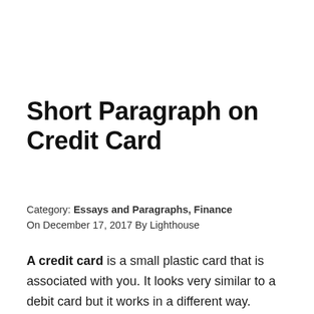Short Paragraph on Credit Card
Category: Essays and Paragraphs, Finance
On December 17, 2017 By Lighthouse
A credit card is a small plastic card that is associated with you. It looks very similar to a debit card but it works in a different way. Whilst a debit card is associated with your bank account and lets you pay for things using that money, and draw the money out of your account when you wish, a credit card represents money that has been